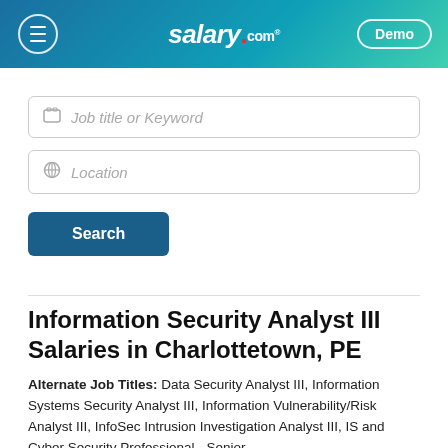salary.com — Demo
Job title or Keyword (search input placeholder)
Location (search input placeholder)
Search (button)
Information Security Analyst III Salaries in Charlottetown, PE
Alternate Job Titles: Data Security Analyst III, Information Systems Security Analyst III, Information Vulnerability/Risk Analyst III, InfoSec Intrusion Investigation Analyst III, IS and Cyber Security Professional - Senior